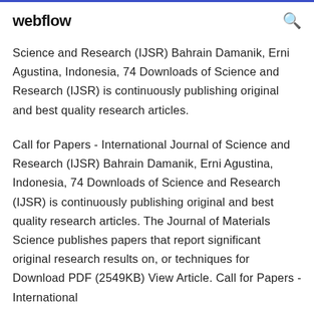webflow
Science and Research (IJSR) Bahrain Damanik, Erni Agustina, Indonesia, 74 Downloads of Science and Research (IJSR) is continuously publishing original and best quality research articles.
Call for Papers - International Journal of Science and Research (IJSR) Bahrain Damanik, Erni Agustina, Indonesia, 74 Downloads of Science and Research (IJSR) is continuously publishing original and best quality research articles. The Journal of Materials Science publishes papers that report significant original research results on, or techniques for Download PDF (2549KB) View Article. Call for Papers - International